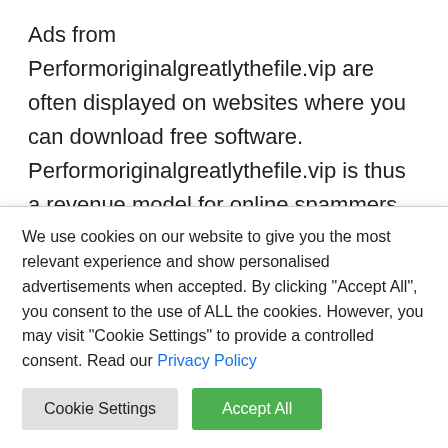Ads from Performoriginalgreatlythefile.vip are often displayed on websites where you can download free software. Performoriginalgreatlythefile.vip is thus a revenue model for online spammers. However, not only a revenue model, but Performoriginalgreatlythefile.vip can also act as a website through which further attacks are carried out against your computer. Performoriginalgreatlythefile.vip then offers malware that can infect your computer with ransomware or tries to attack the browser with dangerous scripts that can eventually take over your computer.
We use cookies on our website to give you the most relevant experience and show personalised advertisements when accepted. By clicking "Accept All", you consent to the use of ALL the cookies. However, you may visit "Cookie Settings" to provide a controlled consent. Read our Privacy Policy